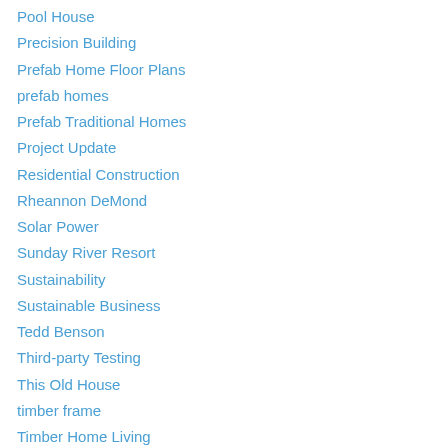Pool House
Precision Building
Prefab Home Floor Plans
prefab homes
Prefab Traditional Homes
Project Update
Residential Construction
Rheannon DeMond
Solar Power
Sunday River Resort
Sustainability
Sustainable Business
Tedd Benson
Third-party Testing
This Old House
timber frame
Timber Home Living
Tradd
Uncategorized
Unity Homes